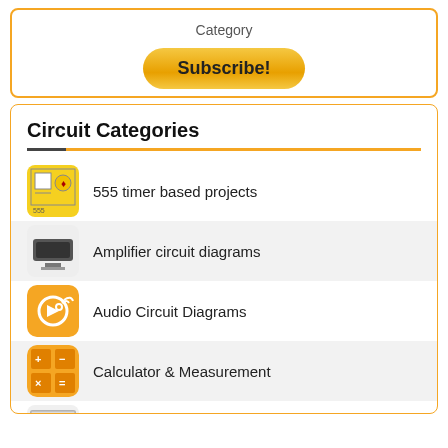Category
Subscribe!
Circuit Categories
555 timer based projects
Amplifier circuit diagrams
Audio Circuit Diagrams
Calculator & Measurement
Circuit Diagram Softwares